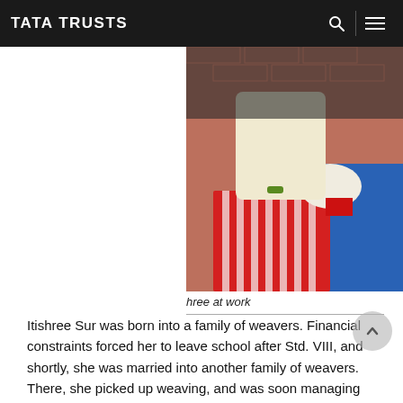TATA TRUSTS
[Figure (photo): A woman in a cream saree working with red-striped woven fabric on a blue cloth surface, with a brick wall in the background.]
hree at work
Itishree Sur was born into a family of weavers. Financial constraints forced her to leave school after Std. VIII, and shortly, she was married into another family of weavers. There, she picked up weaving, and was soon managing her husband's small business of Tussar saris and dupattas.